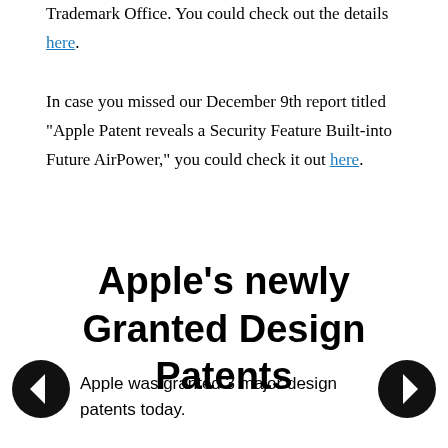Trademark Office. You could check out the details here.
In case you missed our December 9th report titled "Apple Patent reveals a Security Feature Built-into Future AirPower," you could check it out here.
Apple's newly Granted Design Patents
Apple was granted 3 major design patents today.